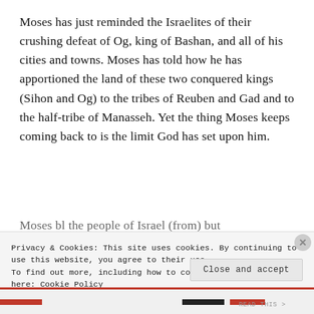Moses has just reminded the Israelites of their crushing defeat of Og, king of Bashan, and all of his cities and towns. Moses has told how he has apportioned the land of these two conquered kings (Sihon and Og) to the tribes of Reuben and Gad and to the half-tribe of Manasseh. Yet the thing Moses keeps coming back to is the limit God has set upon him.
Moses tells the people of Israel (from) but...
Privacy & Cookies: This site uses cookies. By continuing to use this website, you agree to their use.
To find out more, including how to control cookies, see here: Cookie Policy
Close and accept